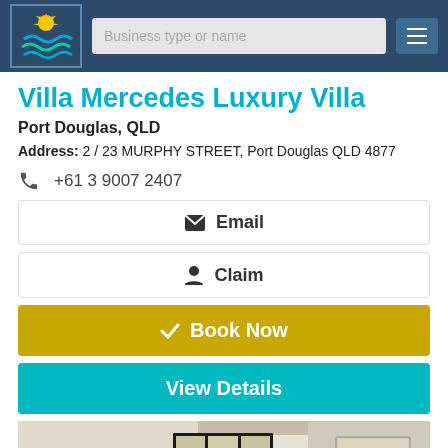[Figure (screenshot): Navigation bar with logo, search field, and hamburger menu on dark blue background]
Villa Mercedes Luxury Villa
Port Douglas, QLD
Address: 2 / 23 MURPHY STREET, Port Douglas QLD 4877
+61 3 9007 2407
✉ Email
👤 Claim
✔ Book Now
View Details
[Figure (photo): Interior room photo showing ceiling, window with dark frame, and a door on the right side, warm beige walls]